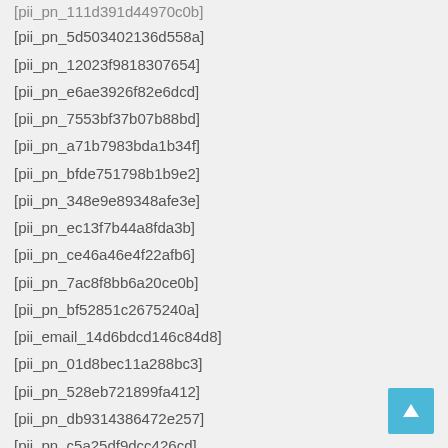[pii_pn_111d391d44970c0b]
[pii_pn_5d503402136d558a]
[pii_pn_12023f9818307654]
[pii_pn_e6ae3926f82e6dcd]
[pii_pn_7553bf37b07b88bd]
[pii_pn_a71b7983bda1b34f]
[pii_pn_bfde751798b1b9e2]
[pii_pn_348e9e89348afe3e]
[pii_pn_ec13f7b44a8fda3b]
[pii_pn_ce46a46e4f22afb6]
[pii_pn_7ac8f8bb6a20ce0b]
[pii_pn_bf52851c2675240a]
[pii_email_14d6bdcd146c84d8]
[pii_pn_01d8bec11a288bc3]
[pii_pn_528eb721899fa412]
[pii_pn_db9314386472e257]
[pii_pn_c5a25df9dcc426cd]
[pii_pn_b8003d3be9629241]